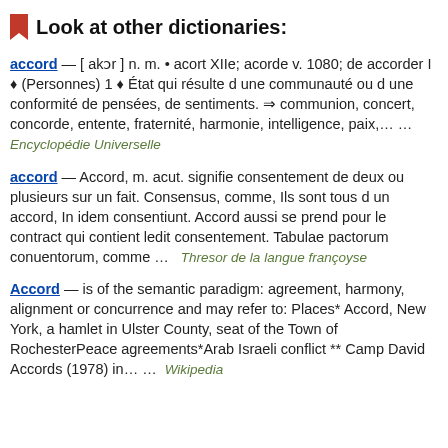Look at other dictionaries:
accord — [ akɔr ] n. m. • acort XIIe; acorde v. 1080; de accorder I ♦ (Personnes) 1 ♦ État qui résulte d une communauté ou d une conformité de pensées, de sentiments. ⇒ communion, concert, concorde, entente, fraternité, harmonie, intelligence, paix,… … Encyclopédie Universelle
accord — Accord, m. acut. signifie consentement de deux ou plusieurs sur un fait. Consensus, comme, Ils sont tous d un accord, In idem consentiunt. Accord aussi se prend pour le contract qui contient ledit consentement. Tabulae pactorum conuentorum, comme … Thresor de la langue françoyse
Accord — is of the semantic paradigm: agreement, harmony, alignment or concurrence and may refer to: Places* Accord, New York, a hamlet in Ulster County, seat of the Town of RochesterPeace agreements*Arab Israeli conflict ** Camp David Accords (1978) in… … Wikipedia